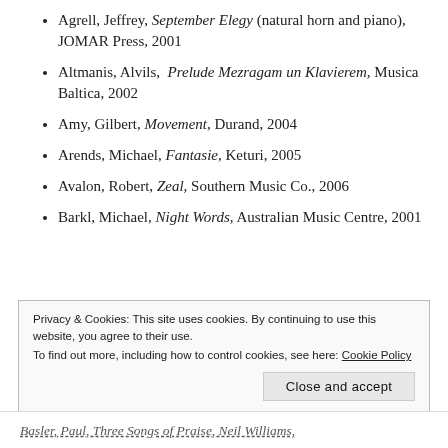Agrell, Jeffrey, September Elegy (natural horn and piano), JOMAR Press, 2001
Altmanis, Alvils, Prelude Mezragam un Klavierem, Musica Baltica, 2002
Amy, Gilbert, Movement, Durand, 2004
Arends, Michael, Fantasie, Keturi, 2005
Avalon, Robert, Zeal, Southern Music Co., 2006
Barkl, Michael, Night Words, Australian Music Centre, 2001
Privacy & Cookies: This site uses cookies. By continuing to use this website, you agree to their use.
To find out more, including how to control cookies, see here: Cookie Policy
Close and accept
Basler, Paul, Three Songs of Praise, Neil Williams,